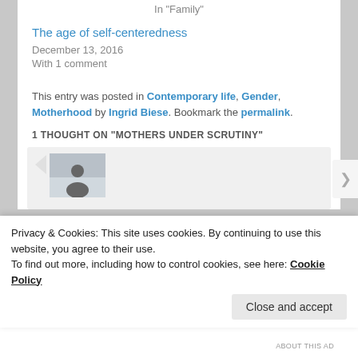In "Family"
The age of self-centeredness
December 13, 2016
With 1 comment
This entry was posted in Contemporary life, Gender, Motherhood by Ingrid Biese. Bookmark the permalink.
1 THOUGHT ON "MOTHERS UNDER SCRUTINY"
[Figure (photo): Comment section with user avatar photo showing a person]
Privacy & Cookies: This site uses cookies. By continuing to use this website, you agree to their use.
To find out more, including how to control cookies, see here: Cookie Policy
Close and accept